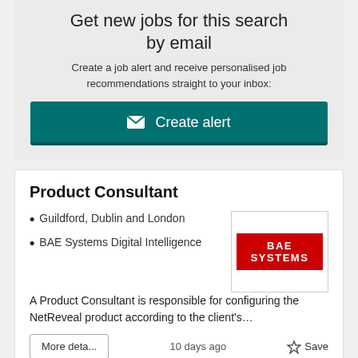Get new jobs for this search by email
Create a job alert and receive personalised job recommendations straight to your inbox:
✉ Create alert
Product Consultant
Guildford, Dublin and London
BAE Systems Digital Intelligence
[Figure (logo): BAE SYSTEMS logo — white text on red background]
A Product Consultant is responsible for configuring the NetReveal product according to the client's…
10 days ago
Save